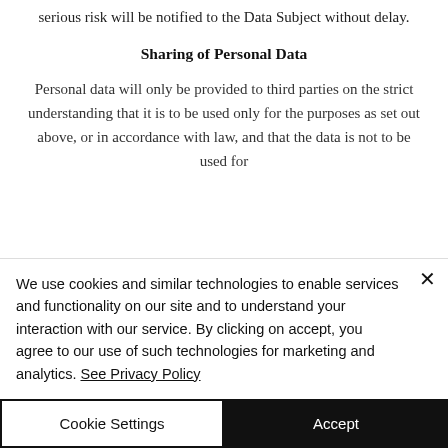serious risk will be notified to the Data Subject without delay.
Sharing of Personal Data
Personal data will only be provided to third parties on the strict understanding that it is to be used only for the purposes as set out above, or in accordance with law, and that the data is not to be used for
We use cookies and similar technologies to enable services and functionality on our site and to understand your interaction with our service. By clicking on accept, you agree to our use of such technologies for marketing and analytics. See Privacy Policy
Cookie Settings
Accept